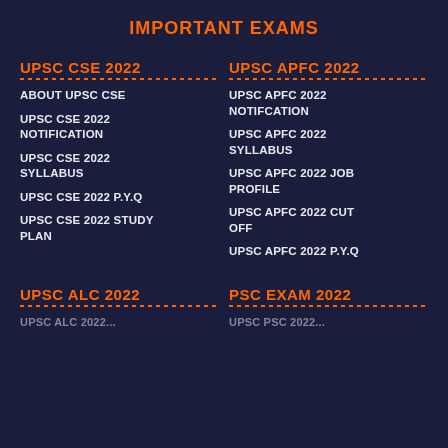IMPORTANT EXAMS
UPSC CSE 2022
ABOUT UPSC CSE
UPSC CSE 2022 NOTIFICATION
UPSC CSE 2022 SYLLABUS
UPSC CSE 2022 P.Y.Q
UPSC CSE 2022 STUDY PLAN
UPSC APFC 2022
UPSC APFC 2022 NOTIFCATION
UPSC APFC 2022 SYLLABUS
UPSC APFC 2022 JOB PROFILE
UPSC APFC 2022 CUT OFF
UPSC APFC 2022 P.Y.Q
UPSC ALC 2022
UPSC ALC 2022...
PSC EXAM 2022
UPSC PSC 2022...